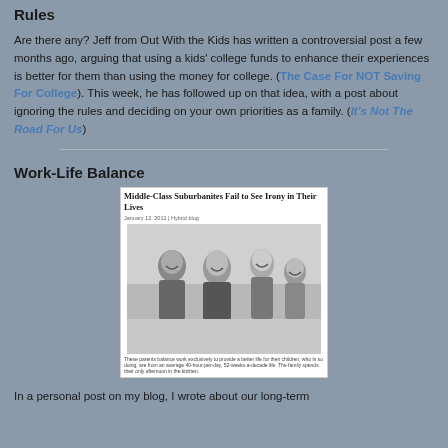Rules
Are there any? Jeff from Out With the Kids has written a controversial post a few months ago, arguing that using a kids' college funds to enhance their experiences is better for them than using the money for college. (The Case For NOT Saving For College). This week, he has followed up on that idea, with a post about ignoring the rules and deciding on your own priorities as a family. (It's Not The Road For Us)
Work-Life Balance
[Figure (screenshot): Screenshot of an article titled 'Middle-Class Suburbanites Fail to See Irony in Their Lives' with a black and white photo of a suburban family (two adults and two children) smiling outdoors.]
In a personal post on my blog, I wrote about our long-term